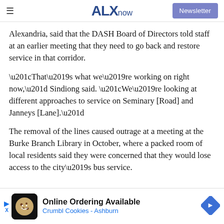ALXnow | Newsletter
Alexandria, said that the DASH Board of Directors told staff at an earlier meeting that they need to go back and restore service in that corridor.
“That’s what we’re working on right now,” Sindiong said. “We’re looking at different approaches to service on Seminary [Road] and Janneys [Lane].”
The removal of the lines caused outrage at a meeting at the Burke Branch Library in October, where a packed room of local residents said they were concerned that they would lose access to the city’s bus service.
[Figure (other): Advertisement banner for Crumbl Cookies Ashburn: Online Ordering Available]